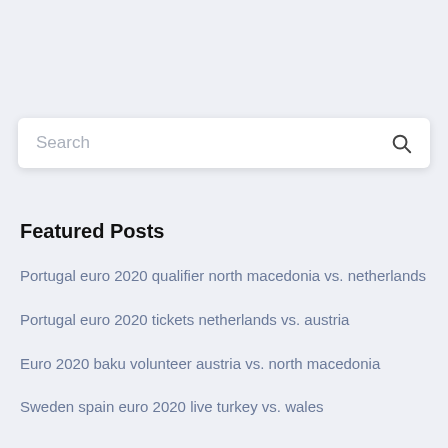[Figure (screenshot): Search input box with placeholder text 'Search' and a magnifying glass icon on the right]
Featured Posts
Portugal euro 2020 qualifier north macedonia vs. netherlands
Portugal euro 2020 tickets netherlands vs. austria
Euro 2020 baku volunteer austria vs. north macedonia
Sweden spain euro 2020 live turkey vs. wales